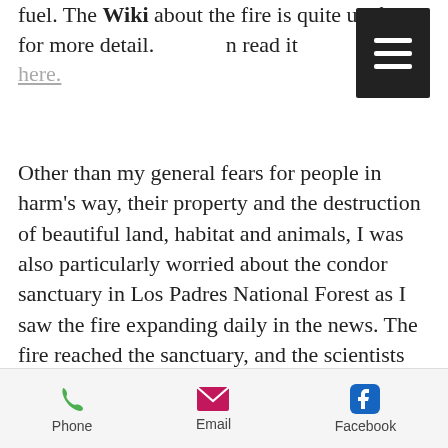fuel. The Wiki about the fire is quite useful for more detail. You can read it here.
Other than my general fears for people in harm's way, their property and the destruction of beautiful land, habitat and animals, I was also particularly worried about the condor sanctuary in Los Padres National Forest as I saw the fire expanding daily in the news. The fire reached the sanctuary, and the scientists who run that facility are currently trying to track down the surviving birds. The California condor is nearly extinct, despite efforts to
Phone  Email  Facebook